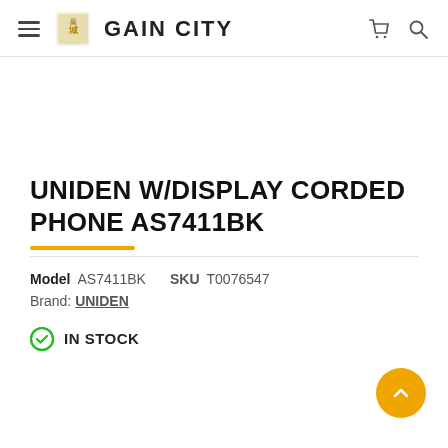GAIN CITY
UNIDEN W/DISPLAY CORDED PHONE AS7411BK
Model AS7411BK  SKU T0076547
Brand: UNIDEN
IN STOCK